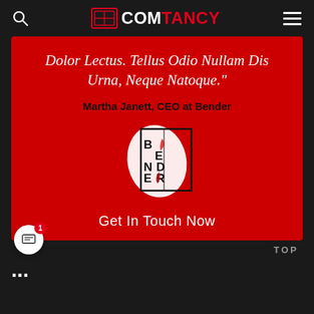ECOMTANCY
[Figure (screenshot): Red promotional card with quote text, Bender company logo, and Get In Touch Now call to action]
Martha Janett, CEO at Bender
Get In Touch Now
TOP
...